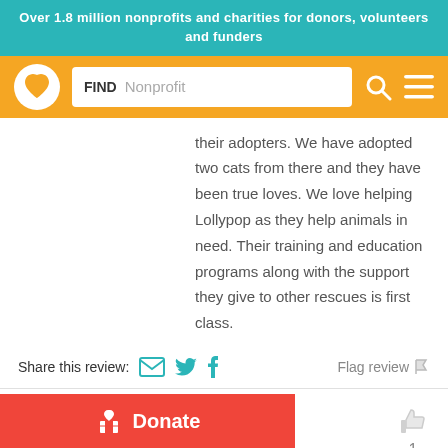Over 1.8 million nonprofits and charities for donors, volunteers and funders
[Figure (screenshot): Navigation bar with GuideStar/Candid logo (heart in circle), search box with FIND label and Nonprofit placeholder, search icon, and hamburger menu icon on orange background]
their adopters. We have adopted two cats from there and they have been true loves. We love helping Lollypop as they help animals in need. Their training and education programs along with the support they give to other rescues is first class.
Share this review:  [email icon] [twitter icon] [facebook icon]    Flag review [flag icon]
Danazink
General Member of the Public
Donate